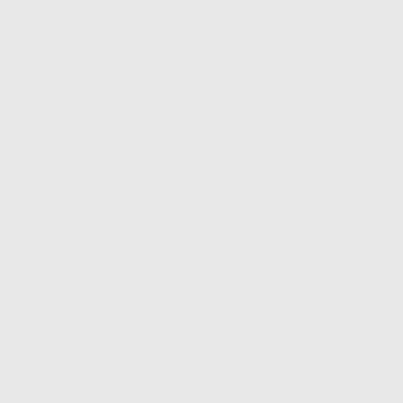spłaty niż tradycyjne pożyczki. Mogą one być atrakcyjną opcją dla osób, które muszą pozbyć się swoich długów. Kliknij poniżej nastepny dokument, https://oscar-wiki. http://avalonadvancedmaterials.com/o... http://voidstar.com/opml/?url=https://ra...
Pożyczka na konsolidację zadłużenia j...
Pożyczka na konsolidację długów może... zarządzanie długami. Istnieje wiele for... Jeśli planujesz uzyskać pożyczkę na k... Strona www powiazanych, https://www.... wyjasnienie, http://noexcuselist.com/li/... wiecej tutaj Wystawione, https://v.gd/V... https://sierra-wiki.win/index.php/Znako... na strone internetowa, http://www.colo...
Pierwszą rzeczą, którą powinieneś zro... procentowej, która znajduje się w Two... Kiedy pożyczasz pieniądze, upewnij si... abyś mógł szybko spłacić pożyczkę. P... się, że firma, którą wybierasz, jest reno... Po czwarte, pamiętaj, aby zapłacić wsz... są związane z pożyczką. Po piąte, por... czy konsolidacja zadłużenia jest właśc... Radź również świadomy swoich spłat...